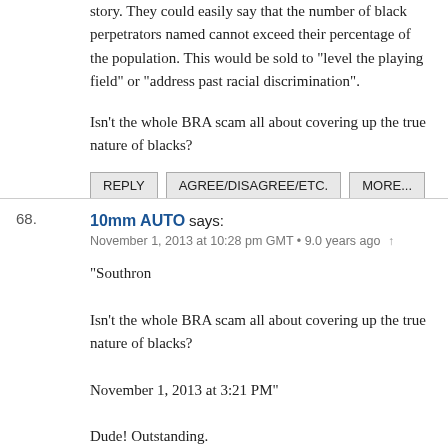story. They could easily say that the number of black perpetrators named cannot exceed their percentage of the population. This would be sold to "level the playing field" or "address past racial discrimination".
Isn't the whole BRA scam all about covering up the true nature of blacks?
68. 10mm AUTO says:
November 1, 2013 at 10:28 pm GMT • 9.0 years ago
"Southron

Isn't the whole BRA scam all about covering up the true nature of blacks?

November 1, 2013 at 3:21 PM"

Dude! Outstanding.